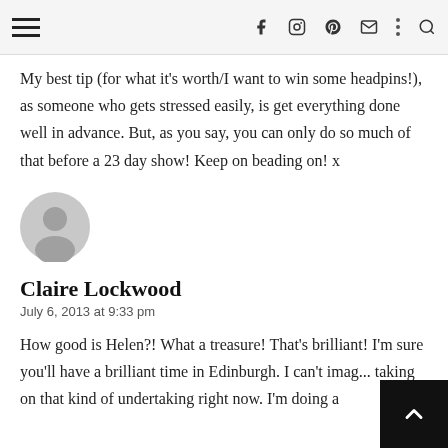Navigation header with hamburger menu and social icons (facebook, instagram, pinterest, email, search)
My best tip (for what it's worth/I want to win some headpins!), as someone who gets stressed easily, is get everything done well in advance. But, as you say, you can only do so much of that before a 23 day show! Keep on beading on! x
[Figure (illustration): Gray default user avatar circle icon]
Claire Lockwood
July 6, 2013 at 9:33 pm
How good is Helen?! What a treasure! That's brilliant! I'm sure you'll have a brilliant time in Edinburgh. I can't imag... taking on that kind of undertaking right now. I'm doing a